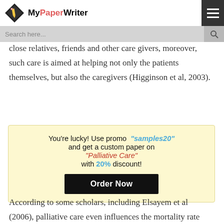MyPaperWriter
care significantly improves the quality of life not only of (Higginson et al, 2003), but also of their close relatives, friends and other care givers, moreover, such care is aimed at helping not only the patients themselves, but also the caregivers (Higginson et al, 2003).
[Figure (infographic): Promotional box with light yellow background. Text: You're lucky! Use promo "samples20" and get a custom paper on "Palliative Care" with 20% discount! Order Now button in black.]
According to some scholars, including Elsayem et al (2006), palliative care even influences the mortality rate